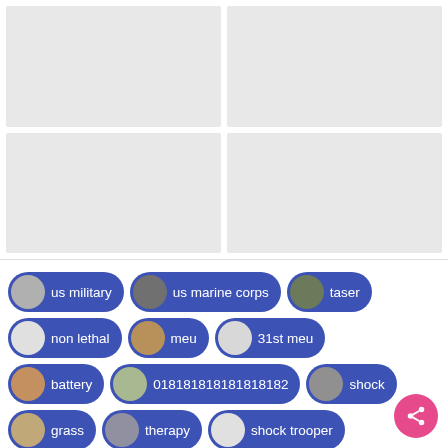[Figure (other): 2x2 grid of placeholder image cells (light gray rectangles)]
us military
us marine corps
taser
non lethal
meu
31st meu
battery
018181818181818182
shock
grass
therapy
shock trooper